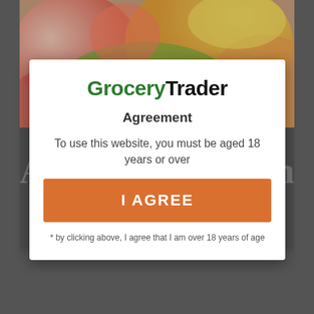[Figure (photo): Blurred colorful produce/grocery items image in the background, partially overlaid by a dark semi-transparent overlay. A white modal dialog is centered over it.]
Grocery Trader
Agreement
To use this website, you must be aged 18 years or over
I AGREE
* by clicking above, I agree that I am over 18 years of age